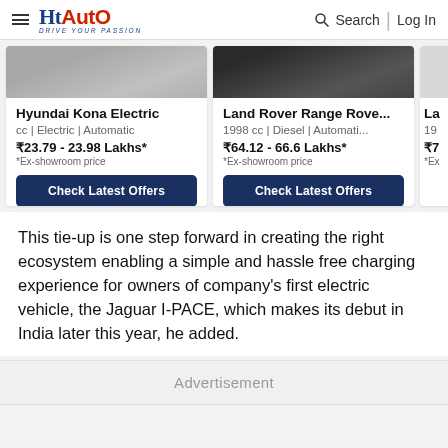HT Auto | Search | Log In
[Figure (screenshot): Hyundai Kona Electric car card with image, specs, price and Check Latest Offers button]
[Figure (screenshot): Land Rover Range Rover car card with image, specs, price and Check Latest Offers button]
[Figure (screenshot): Partial third car card clipped at right edge]
This tie-up is one step forward in creating the right ecosystem enabling a simple and hassle free charging experience for owners of company’s first electric vehicle, the Jaguar I-PACE, which makes its debut in India later this year, he added.
Advertisement